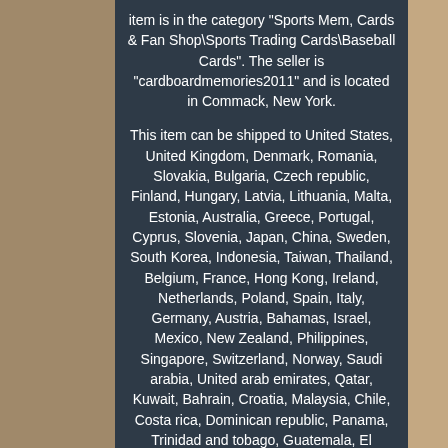item is in the category "Sports Mem, Cards & Fan Shop\Sports Trading Cards\Baseball Cards". The seller is "cardboardmemories2011" and is located in Commack, New York.
This item can be shipped to United States, United Kingdom, Denmark, Romania, Slovakia, Bulgaria, Czech republic, Finland, Hungary, Latvia, Lithuania, Malta, Estonia, Australia, Greece, Portugal, Cyprus, Slovenia, Japan, China, Sweden, South Korea, Indonesia, Taiwan, Thailand, Belgium, France, Hong Kong, Ireland, Netherlands, Poland, Spain, Italy, Germany, Austria, Bahamas, Israel, Mexico, New Zealand, Philippines, Singapore, Switzerland, Norway, Saudi arabia, United arab emirates, Qatar, Kuwait, Bahrain, Croatia, Malaysia, Chile, Costa rica, Dominican republic, Panama, Trinidad and tobago, Guatemala, El salvador, Honduras, Jamaica, Aruba, Belize, Dominica, Grenada, Saint kitts and nevis, Turks and caicos islands, Bangladesh, Brunei darussalam, Bolivia, Egypt